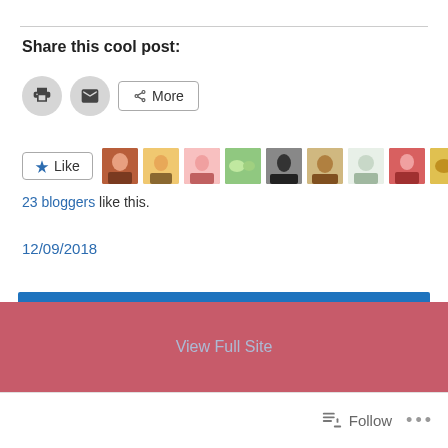Share this cool post:
[Figure (screenshot): Share buttons: print icon (circle), email icon (circle), and More button with share icon]
[Figure (screenshot): Like button with star icon, followed by a row of 11 blogger avatar thumbnails]
23 bloggers like this.
12/09/2018
Older posts
View Full Site
Follow